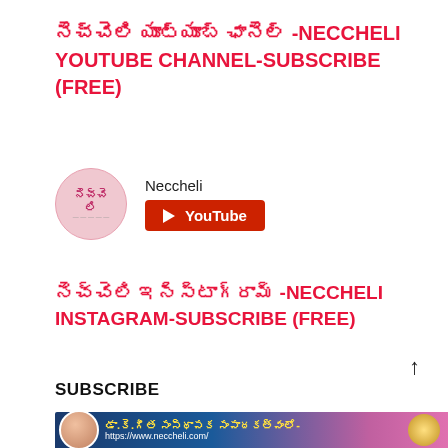నెచ్చెలి యూట్యూబ్ ఛానెల్ -NECCHELI YOUTUBE CHANNEL-SUBSCRIBE (FREE)
[Figure (logo): Neccheli YouTube channel logo (pink circle with Telugu text) alongside 'Neccheli' label and red YouTube subscribe button]
నెచ్చెలి ఇన్స్టాగ్రామ్ -NECCHELI INSTAGRAM-SUBSCRIBE (FREE)
↑
SUBSCRIBE
[Figure (photo): Bottom banner with dark blue/purple gradient background, circular profile photo of Dr. K. Geetha, Telugu text 'డా.కె.గీత సంస్థాపక సంపాదకత్వంలో-', URL https://www.neccheli.com/ and a gold decorative circle]